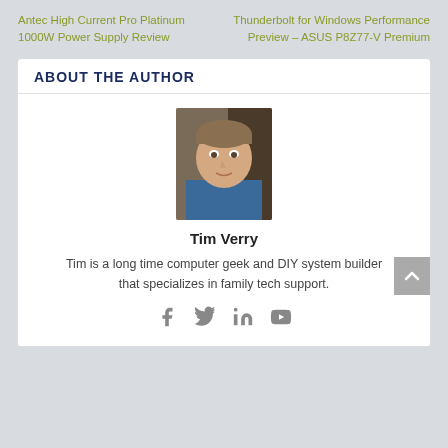Antec High Current Pro Platinum 1000W Power Supply Review
Thunderbolt for Windows Performance Preview – ASUS P8Z77-V Premium
ABOUT THE AUTHOR
[Figure (photo): Headshot photo of Tim Verry, a man with short brown hair wearing a blue shirt]
Tim Verry
Tim is a long time computer geek and DIY system builder that specializes in family tech support.
[Figure (infographic): Social media icons: Facebook, Twitter, LinkedIn, YouTube]